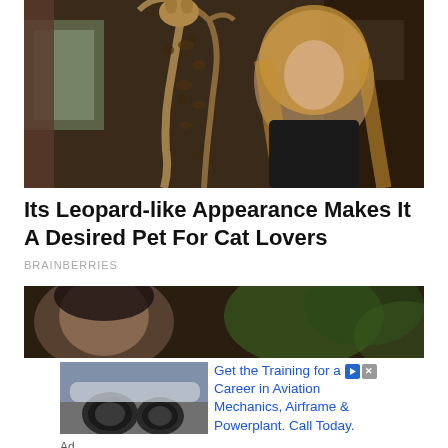[Figure (photo): A woman with long blonde hair in a black outfit interacting with a large spotted cat (serval/savannah cat) that is standing on its hind legs with paws raised, in a home interior setting]
Its Leopard-like Appearance Makes It A Desired Pet For Cat Lovers
BRAINBERRIES
[Figure (photo): A blurry close-up of a person's face with dark hair, out of focus, with dark green foliage in the background]
[Figure (photo): Advertisement image showing airplane jet engines on a tarmac]
Get the Training for a Career in Aviation Mechanics, Airframe & Powerplant. Call Today.
Ad